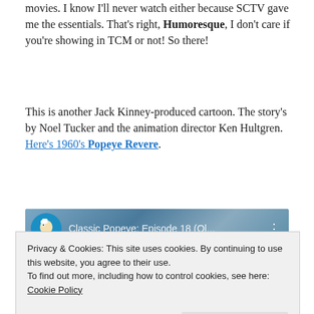movies. I know I'll never watch either because SCTV gave me the essentials. That's right, Humoresque, I don't care if you're showing in TCM or not! So there!
This is another Jack Kinney-produced cartoon. The story's by Noel Tucker and the animation director Ken Hultgren. Here's 1960's Popeye Revere.
[Figure (screenshot): Video thumbnail showing Classic Popeye: Episode 18 (Ol... with Popeye cartoon character icon on left]
Privacy & Cookies: This site uses cookies. By continuing to use this website, you agree to their use.
To find out more, including how to control cookies, see here: Cookie Policy
Close and accept